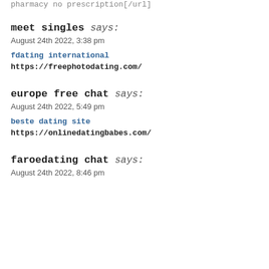pharmacy no prescription[/url]
meet singles says:
August 24th 2022, 3:38 pm
fdating international
https://freephotodating.com/
europe free chat says:
August 24th 2022, 5:49 pm
beste dating site
https://onlinedatingbabes.com/
faroedating chat says:
August 24th 2022, 8:46 pm